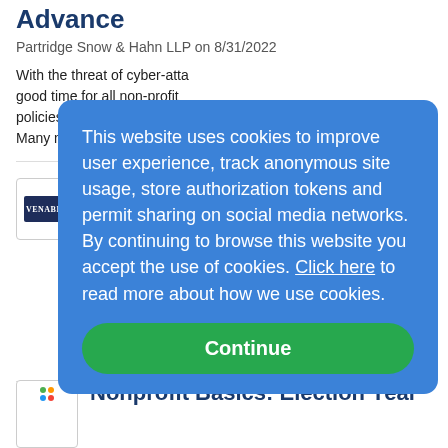Advance
Partridge Snow & Hahn LLP on 8/31/2022
With the threat of cyber-atta... good time for all non-profit policies and procedures with... Many non-profit organizatio...
[Figure (logo): Venable LLP logo — dark navy rectangle with white serif text 'VENABLE']
The Pandemic F... Cancellation of Y... Event - Now Wha...
Venable LLP on 8/31/2022
The COVID-19 pandemic c... postpone or cancel conferen... shows, and other events. Th... with nonprofit organization... coordinate...more
This website uses cookies to improve user experience, track anonymous site usage, store authorization tokens and permit sharing on social media networks. By continuing to browse this website you accept the use of cookies. Click here to read more about how we use cookies.
[Figure (logo): Small colorful logo with green, orange, blue, red dots]
Nonprofit Basics: Election Year